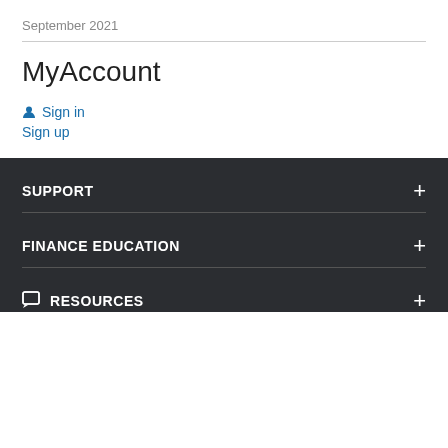September 2021
MyAccount
Sign in
Sign up
SUPPORT
FINANCE EDUCATION
RESOURCES